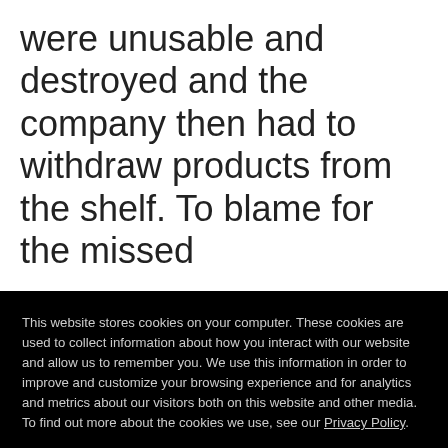were unusable and destroyed and the company then had to withdraw products from the shelf. To blame for the missed
This website stores cookies on your computer. These cookies are used to collect information about how you interact with our website and allow us to remember you. We use this information in order to improve and customize your browsing experience and for analytics and metrics about our visitors both on this website and other media. To find out more about the cookies we use, see our Privacy Policy.
If you decline, your information won't be tracked when you visit this website. A single cookie will be used in your browser to remember your preference not to be tracked.
Accept
Decline